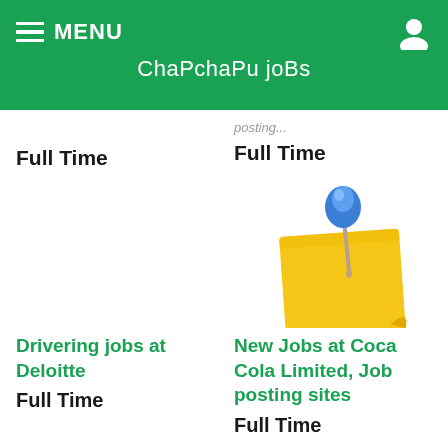MENU   ChaPchaPu joBs
posting...
Full Time
Full Time
[Figure (illustration): A yellow sticky note with a blue pushpin tacked through it, tilted slightly, on white background.]
Drivering jobs at Deloitte
New Jobs at Coca Cola Limited, Job posting sites
Full Time
Full Time